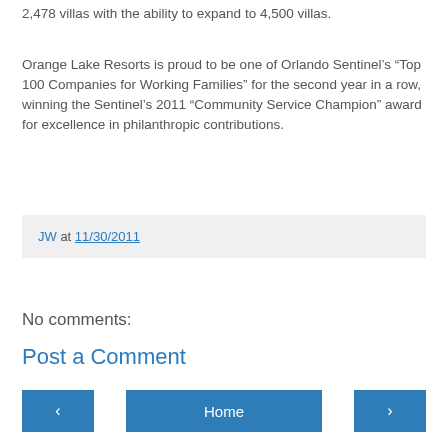2,478 villas with the ability to expand to 4,500 villas.
Orange Lake Resorts is proud to be one of Orlando Sentinel’s “Top 100 Companies for Working Families” for the second year in a row, winning the Sentinel’s 2011 “Community Service Champion” award for excellence in philanthropic contributions.
JW at 11/30/2011
No comments:
Post a Comment
Home
View web version
Powered by Blogger.